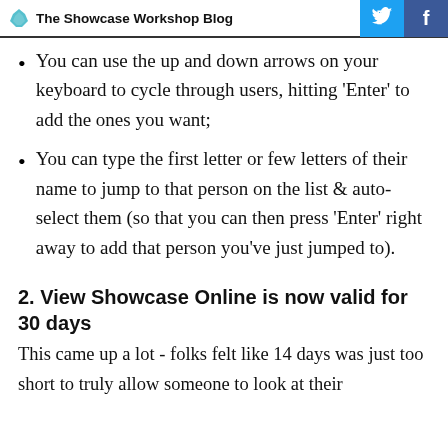The Showcase Workshop Blog
You can use the up and down arrows on your keyboard to cycle through users, hitting 'Enter' to add the ones you want;
You can type the first letter or few letters of their name to jump to that person on the list & auto-select them (so that you can then press 'Enter' right away to add that person you've just jumped to).
2. View Showcase Online is now valid for 30 days
This came up a lot - folks felt like 14 days was just too short to truly allow someone to look at their